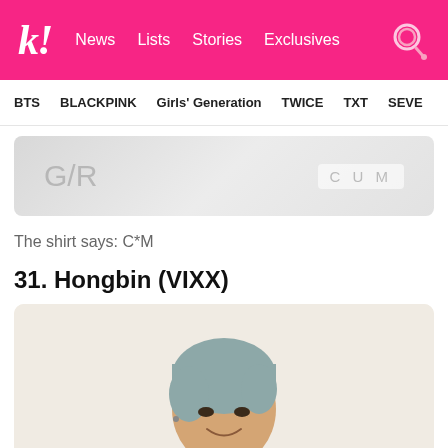k! News Lists Stories Exclusives
BTS BLACKPINK Girls' Generation TWICE TXT SEVE
[Figure (photo): Close-up of a white shirt with text 'C*M' printed on it, cropped image showing partial letter/text graphic on left side]
The shirt says: C*M
31. Hongbin (VIXX)
[Figure (photo): Photo of Hongbin from VIXX with grey-blue hair, smiling, wearing a beige/tan outfit, making a gesture with his hand]